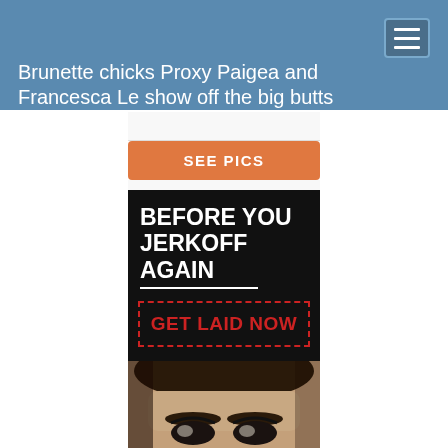Brunette chicks Proxy Paigea and Francesca Le show off the big butts
[Figure (screenshot): Advertisement banner showing 'SEE PICS' orange button, black background with 'BEFORE YOU JERKOFF AGAIN' text, 'GET LAID NOW' red dashed button, and a close-up photo of a brunette woman's face]